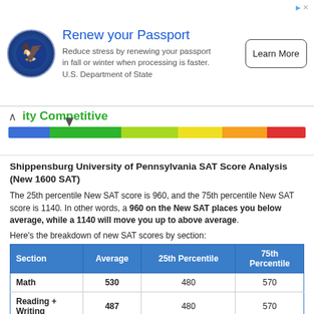[Figure (other): Advertisement banner for US passport renewal featuring Department of State eagle logo, headline 'Renew your Passport', body text, and 'Learn More' button]
[Figure (infographic): Competitiveness rating bar showing gradient from blue to red with a pointer marker indicating 'Highly Competitive' rating]
Shippensburg University of Pennsylvania SAT Score Analysis (New 1600 SAT)
The 25th percentile New SAT score is 960, and the 75th percentile New SAT score is 1140. In other words, a 960 on the New SAT places you below average, while a 1140 will move you up to above average.
Here's the breakdown of new SAT scores by section:
| Section | Average | 25th Percentile | 75th Percentile |
| --- | --- | --- | --- |
| Math | 530 | 480 | 570 |
| Reading + Writing | 487 | 480 | 570 |
| Composite | 1017 | 960 | 1140 |